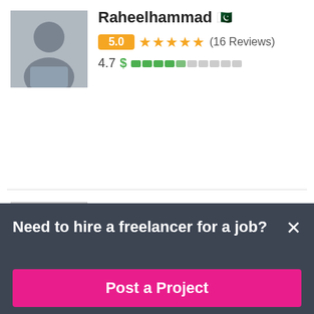[Figure (photo): Profile photo of Raheelhammad, male user]
Raheelhammad 🇵🇰
5.0 ★★★★★ (16 Reviews)
4.7 $ ████░░░░░░
[Figure (photo): Profile photo of Maplegroupcom, female user]
Maplegroupcom 🇮🇳
$1125 USD in 7 days
4.6 ★★★★★ (14 Reviews)
5.0 $ ████░░░░░░
Need to hire a freelancer for a job?
Post a Project